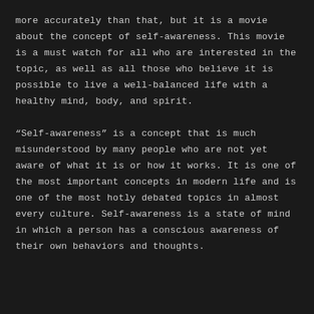more accurately than that, but it is a movie about the concept of self-awareness. This movie is a must watch for all who are interested in the topic, as well as all those who believe it is possible to live a well-balanced life with a healthy mind, body, and spirit.
“Self-awareness” is a concept that is much misunderstood by many people who are not yet aware of what it is or how it works. It is one of the most important concepts in modern life and is one of the most hotly debated topics in almost every culture. Self-awareness is a state of mind in which a person has a conscious awareness of their own behaviors and thoughts.